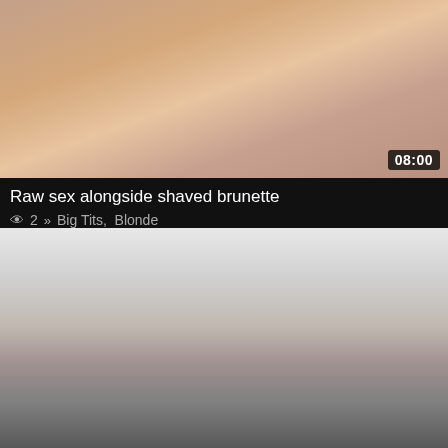[Figure (photo): Video thumbnail showing adult content - first video card]
Raw sex alongside shaved brunette
👁 2  » Big Tits, Blonde
[Figure (photo): Video thumbnail showing adult content - second video card]
Hard pounding amateur in stockings on webcam
👁 0  » Big Tits, Amateur